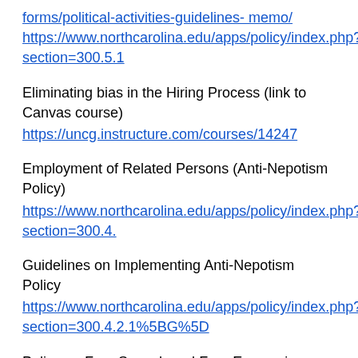forms/political-activities-guidelines- memo/
https://www.northcarolina.edu/apps/policy/index.php?section=300.5.1
Eliminating bias in the Hiring Process (link to Canvas course)
https://uncg.instructure.com/courses/14247
Employment of Related Persons (Anti-Nepotism Policy)
https://www.northcarolina.edu/apps/policy/index.php?section=300.4.
Guidelines on Implementing Anti-Nepotism Policy
https://www.northcarolina.edu/apps/policy/index.php?section=300.4.2.1%5BG%5D
Policy on Free Speech and Free Expression Within the University of North Carolina System
https://chancellor.uncg.edu/bot/wp-